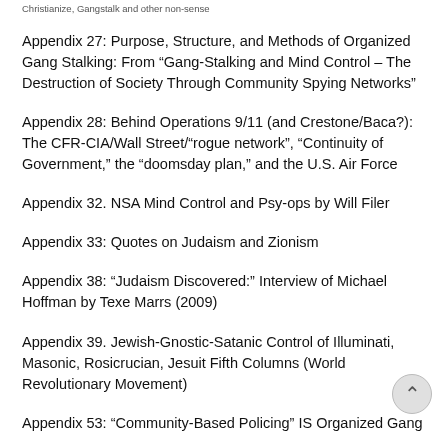Christianize, Gangstalk and other non-sense
Appendix 27: Purpose, Structure, and Methods of Organized Gang Stalking: From “Gang-Stalking and Mind Control – The Destruction of Society Through Community Spying Networks”
Appendix 28: Behind Operations 9/11 (and Crestone/Baca?): The CFR-CIA/Wall Street/“rogue network”, “Continuity of Government,” the “doomsday plan,” and the U.S. Air Force
Appendix 32. NSA Mind Control and Psy-ops by Will Filer
Appendix 33: Quotes on Judaism and Zionism
Appendix 38: “Judaism Discovered:” Interview of Michael Hoffman by Texe Marrs (2009)
Appendix 39. Jewish-Gnostic-Satanic Control of Illuminati, Masonic, Rosicrucian, Jesuit Fifth Columns (World Revolutionary Movement)
Appendix 53: “Community-Based Policing” IS Organized Gang